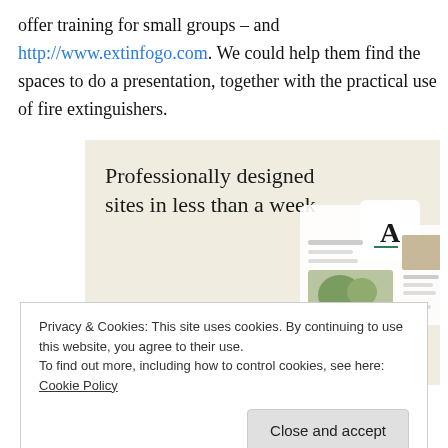offer training for small groups – and http://www.extinfogo.com. We could help them find the spaces to do a presentation, together with the practical use of fire extinguishers.
[Figure (screenshot): Advertisement banner: 'Professionally designed sites in less than a week' with a green 'Explore options' button and website mockup images on a beige background.]
Privacy & Cookies: This site uses cookies. By continuing to use this website, you agree to their use.
To find out more, including how to control cookies, see here: Cookie Policy
Close and accept